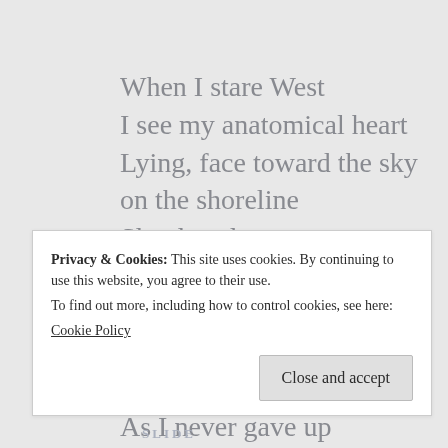When I stare West
I see my anatomical heart
Lying, face toward the sky
on the shoreline
Slowly salty water
wash away,
coursing,
all my scars
Proudly
As I never gave up
Privacy & Cookies: This site uses cookies. By continuing to use this website, you agree to their use.
To find out more, including how to control cookies, see here:
Cookie Policy
Close and accept
SLIDE